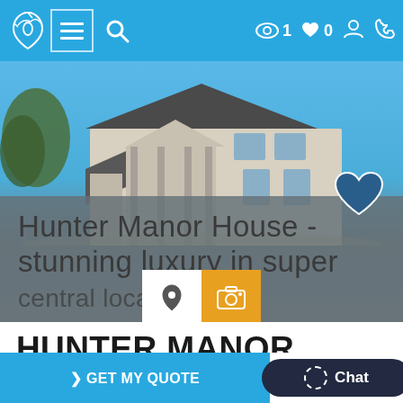[Figure (screenshot): Mobile app navigation bar with blue background, logo (bird icon), hamburger menu, search icon on left, and eye icon with '1', heart icon with '0', user icon, phone icon on right]
[Figure (photo): Hero image of a luxury manor house with blue sky and trees, with semi-transparent overlay showing title text 'Hunter Manor House - stunning luxury in super central location', a heart icon, and map/photo toggle buttons]
HUNTER MANOR HOUSE - STUNNING LUXURY IN SUPER CENTRAL LOCATI...
[Figure (screenshot): Bottom bar with blue 'GET MY QUOTE' button and dark rounded 'Chat' button]